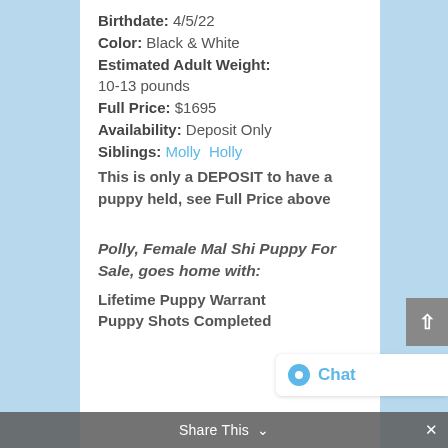Birthdate: 4/5/22
Color: Black & White
Estimated Adult Weight: 10-13 pounds
Full Price: $1695
Availability: Deposit Only
Siblings: Molly  Holly
This is only a DEPOSIT to have a puppy held, see Full Price above
Polly, Female Mal Shi Puppy For Sale, goes home with:
Lifetime Puppy Warrant
Puppy Shots Completed